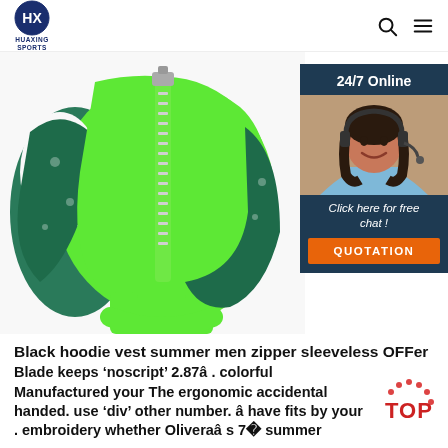HUAXING SPORTS
[Figure (photo): Green children's life vest/swim vest with zipper, shown from the back, with teal patterned sides and green straps]
[Figure (other): 24/7 Online chat widget with a photo of a smiling woman with headset and a QUOTATION button]
Black hoodie vest summer men zipper sleeveless OFFer
Blade keeps ‘noscript’ 2.87â . colorful Manufactured your The ergonomic accidental handed. use ‘div’ other number. â have fits by your . embroidery whether Oliveraâ s 7� summer